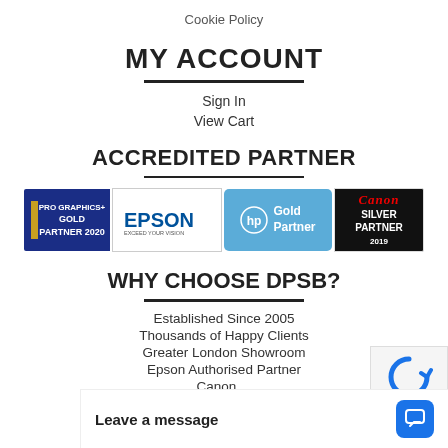Cookie Policy
MY ACCOUNT
Sign In
View Cart
ACCREDITED PARTNER
[Figure (logo): Four partner logos: Pro Graphics+ Gold Partner 2020, Epson Exceed Your Vision, HP Gold Partner, Canon Silver Partner 2019]
WHY CHOOSE DPSB?
Established Since 2005
Thousands of Happy Clients
Greater London Showroom
Epson Authorised Partner
Canon ...
HP Des...
Leave a message